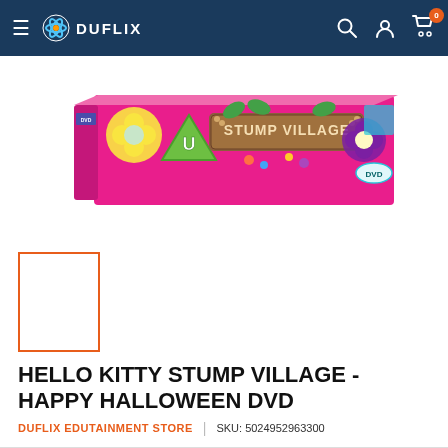DUFLIX
[Figure (photo): Hello Kitty Stump Village Happy Halloween DVD box set product image — pink box with 'STUMP VILLAGE' wooden sign, flowers, green clover with U rating, DVD logo]
[Figure (photo): Small thumbnail image of the Hello Kitty Stump Village DVD (selected, highlighted with orange border)]
HELLO KITTY STUMP VILLAGE - HAPPY HALLOWEEN DVD
DUFLIX EDUTAINMENT STORE  |  SKU: 5024952963300